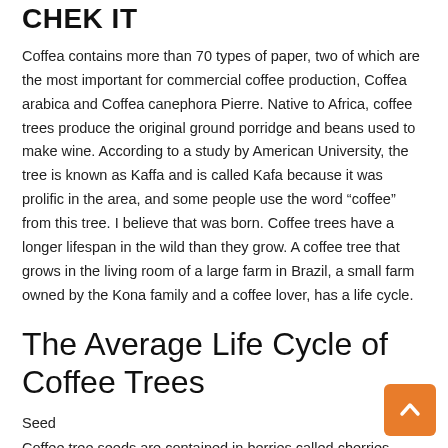CHEK IT
Coffea contains more than 70 types of paper, two of which are the most important for commercial coffee production, Coffea arabica and Coffea canephora Pierre. Native to Africa, coffee trees produce the original ground porridge and beans used to make wine. According to a study by American University, the tree is known as Kaffa and is called Kafa because it was prolific in the area, and some people use the word "coffee" from this tree. I believe that was born. Coffee trees have a longer lifespan in the wild than they grow. A coffee tree that grows in the living room of a large farm in Brazil, a small farm owned by the Kona family and a coffee lover, has a life cycle.
The Average Life Cycle of Coffee Trees
Seed
Coffee tree seeds are contained in berries called cherries. Protective seed coats and silver skin are covered with other commonly known layers of Neguapi or parchment. Cherry generally contains two